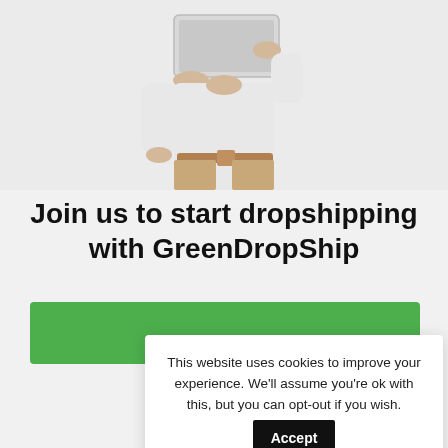[Figure (photo): Person holding a laptop, cropped to torso, wearing beige pants and white top, on light gray background]
Join us to start dropshipping with GreenDropShip
This website uses cookies to improve your experience. We'll assume you're ok with this, but you can opt-out if you wish. Accept Reject Read More